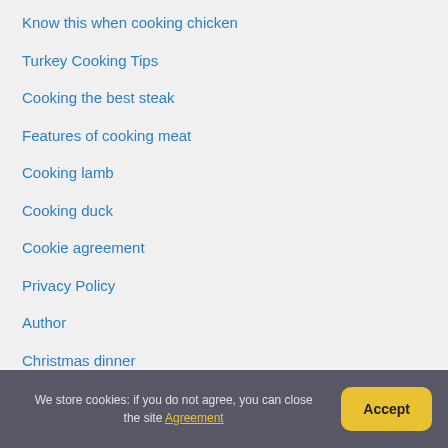Know this when cooking chicken
Turkey Cooking Tips
Cooking the best steak
Features of cooking meat
Cooking lamb
Cooking duck
Cookie agreement
Privacy Policy
Author
Christmas dinner
Christmas menu
Christmas meal
We store cookies: if you do not agree, you can close the site Agreement